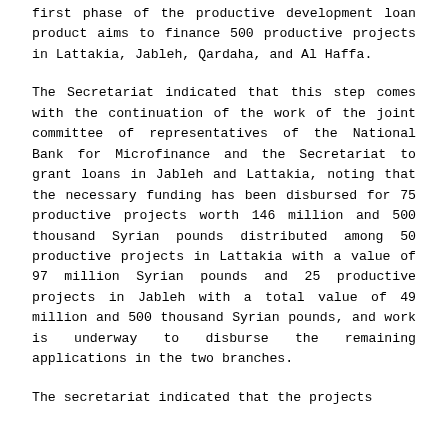first phase of the productive development loan product aims to finance 500 productive projects in Lattakia, Jableh, Qardaha, and Al Haffa.
The Secretariat indicated that this step comes with the continuation of the work of the joint committee of representatives of the National Bank for Microfinance and the Secretariat to grant loans in Jableh and Lattakia, noting that the necessary funding has been disbursed for 75 productive projects worth 146 million and 500 thousand Syrian pounds distributed among 50 productive projects in Lattakia with a value of 97 million Syrian pounds and 25 productive projects in Jableh with a total value of 49 million and 500 thousand Syrian pounds, and work is underway to disburse the remaining applications in the two branches.
The secretariat indicated that the projects